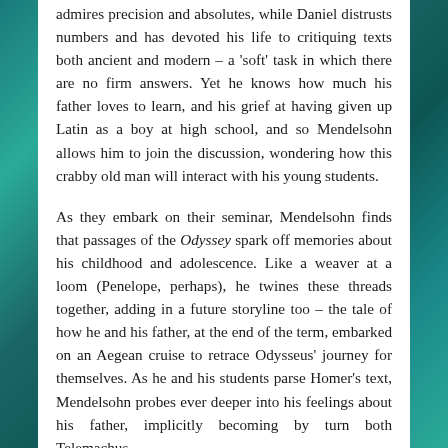admires precision and absolutes, while Daniel distrusts numbers and has devoted his life to critiquing texts both ancient and modern – a 'soft' task in which there are no firm answers. Yet he knows how much his father loves to learn, and his grief at having given up Latin as a boy at high school, and so Mendelsohn allows him to join the discussion, wondering how this crabby old man will interact with his young students.
As they embark on their seminar, Mendelsohn finds that passages of the Odyssey spark off memories about his childhood and adolescence. Like a weaver at a loom (Penelope, perhaps), he twines these threads together, adding in a future storyline too – the tale of how he and his father, at the end of the term, embarked on an Aegean cruise to retrace Odysseus' journey for themselves. As he and his students parse Homer's text, Mendelsohn probes ever deeper into his feelings about his father, implicitly becoming by turn both Telemachus –